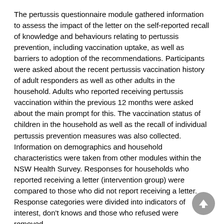The pertussis questionnaire module gathered information to assess the impact of the letter on the self-reported recall of knowledge and behaviours relating to pertussis prevention, including vaccination uptake, as well as barriers to adoption of the recommendations. Participants were asked about the recent pertussis vaccination history of adult responders as well as other adults in the household. Adults who reported receiving pertussis vaccination within the previous 12 months were asked about the main prompt for this. The vaccination status of children in the household as well as the recall of individual pertussis prevention measures was also collected. Information on demographics and household characteristics were taken from other modules within the NSW Health Survey. Responses for households who reported receiving a letter (intervention group) were compared to those who did not report receiving a letter. Response categories were divided into indicators of interest, don't knows and those who refused were removed.
Participation rates
Response and cooperation rates for the NSW Health survey were calculated in line with established guidelines.14 In brief, the minimum response rate was calculated as the number of complete interviews divided by the number of interviews (complete plus partial) plus the number of non-interviews (refusal and break-off plus non-contacts plus others) plus all cases of unknown eligibility (unknown if housing unit, plus unknown